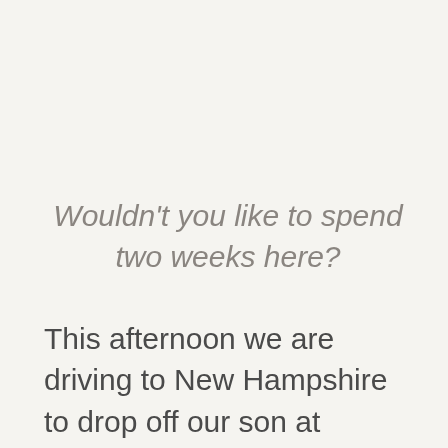Wouldn't you like to spend two weeks here?
This afternoon we are driving to New Hampshire to drop off our son at sleepaway camp for two weeks. This is his first experience